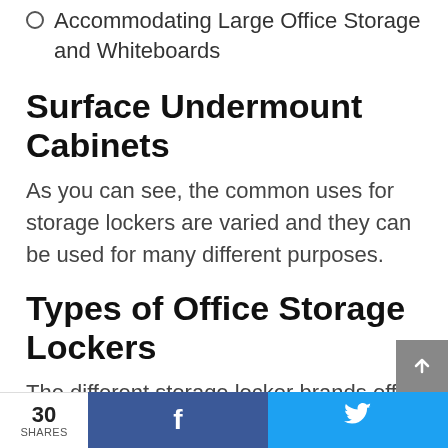Accommodating Large Office Storage and Whiteboards
Surface Undermount Cabinets
As you can see, the common uses for storage lockers are varied and they can be used for many different purposes.
Types of Office Storage Lockers
The different storage locker brands offer many different types lockers on the market. As you can
30 SHARES  f  🐦